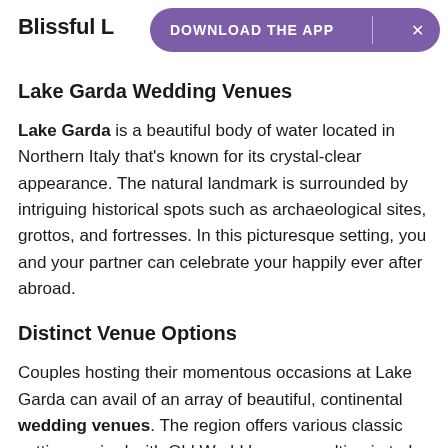Blissful L
DOWNLOAD THE APP  ×
Lake Garda Wedding Venues
Lake Garda is a beautiful body of water located in Northern Italy that's known for its crystal-clear appearance. The natural landmark is surrounded by intriguing historical spots such as archaeological sites, grottos, and fortresses. In this picturesque setting, you and your partner can celebrate your happily ever after abroad.
Distinct Venue Options
Couples hosting their momentous occasions at Lake Garda can avail of an array of beautiful, continental wedding venues. The region offers various classic settings paired with Old World luxury, resulting in truly romantic and memorable ambiences. To-be-weds are invited to select from several